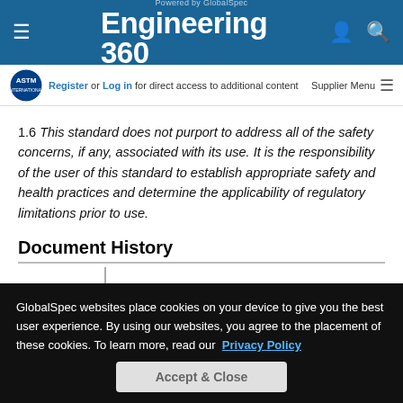Powered by GlobalSpec — Engineering 360
Register or Log in for direct access to additional content
Supplier Menu
1.6 This standard does not purport to address all of the safety concerns, if any, associated with its use. It is the responsibility of the user of this standard to establish appropriate safety and health practices and determine the applicability of regulatory limitations prior to use.
Document History
[Figure (other): Document history timeline with a vertical line and a green dot, extending into a teal horizontal bar]
GlobalSpec websites place cookies on your device to give you the best user experience. By using our websites, you agree to the placement of these cookies. To learn more, read our Privacy Policy
Accept & Close